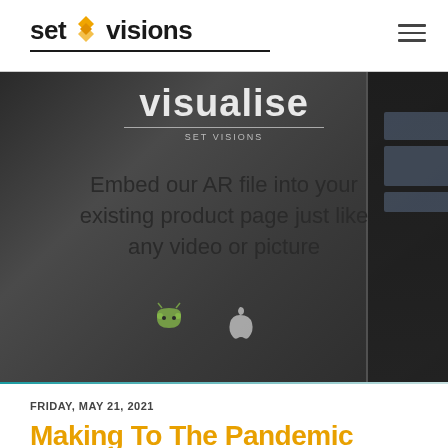set visions
[Figure (screenshot): Dark-themed AR visualisation app screenshot showing the word 'visualise' at the top with 'SET VISIONS' subtitle, and text reading 'Embed our AR file into your existing product page just like any video or picture', with Android and Apple icons at the bottom, and a dark phone frame on the right edge.]
FRIDAY, MAY 21, 2021
Making To The Pandemic